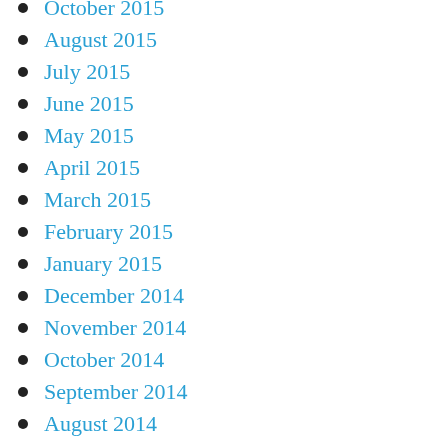October 2015
August 2015
July 2015
June 2015
May 2015
April 2015
March 2015
February 2015
January 2015
December 2014
November 2014
October 2014
September 2014
August 2014
July 2014
June 2014
May 2014